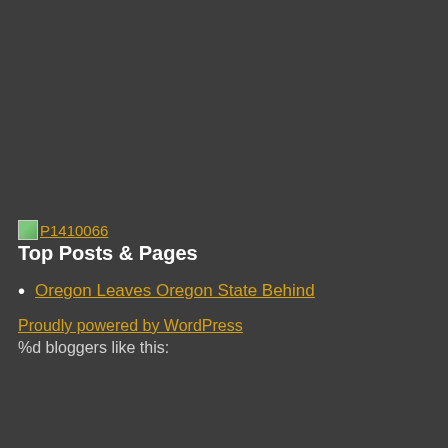[Figure (other): Small thumbnail image placeholder labeled P1410066 shown as a broken image icon with orange underlined link text]
Top Posts & Pages
Oregon Leaves Oregon State Behind
Proudly powered by WordPress
%d bloggers like this: